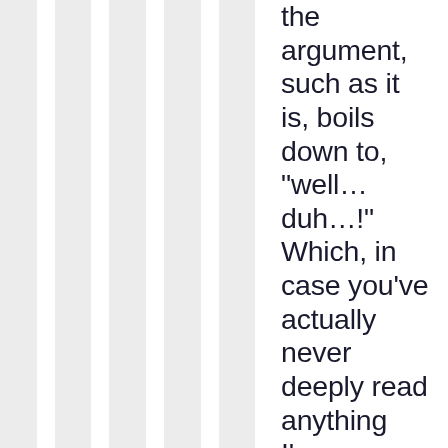the argument, such as it is, boils down to, "well… duh…!" Which, in case you've actually never deeply read anything I've ever penned on this blog, is not something I particularly accept